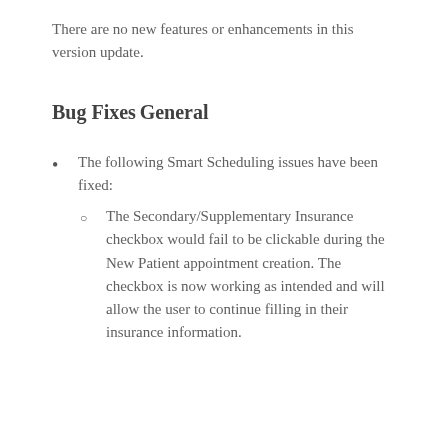There are no new features or enhancements in this version update.
Bug Fixes
General
The following Smart Scheduling issues have been fixed:
The Secondary/Supplementary Insurance checkbox would fail to be clickable during the New Patient appointment creation. The checkbox is now working as intended and will allow the user to continue filling in their insurance information.